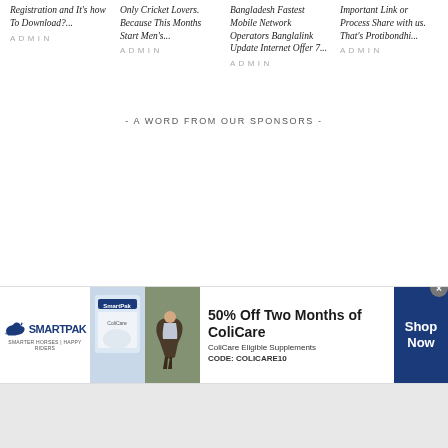Registration and It's how To Download?...
ADMIN
Only Cricket Lovers. Because This Months Start Men's...
ADMIN
Bangladesh Fastest Mobile Network Operators Banglalink Update Internet Offer 7...
ADMIN
Important Link or Process Share with us. That's Protibondhi...
ADMIN
- A WORD FROM OUR SPONSORS -
[Figure (photo): SmartPak advertisement banner with horse and rider photo, offering 50% Off Two Months of ColiCare with code COLICARE10, with a Shop Now button]